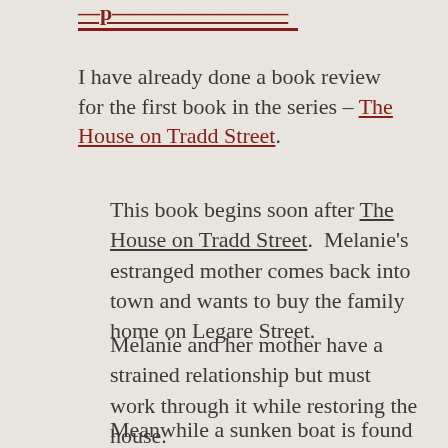I have already done a book review for the first book in the series – The House on Tradd Street.
This book begins soon after The House on Tradd Street.  Melanie's estranged mother comes back into town and wants to buy the family home on Legare Street.
Melanie and her mother have a strained relationship but must work through it while restoring the house.
Meanwhile a sunken boat is found off shore.  The boat sunk in the late 1800's and